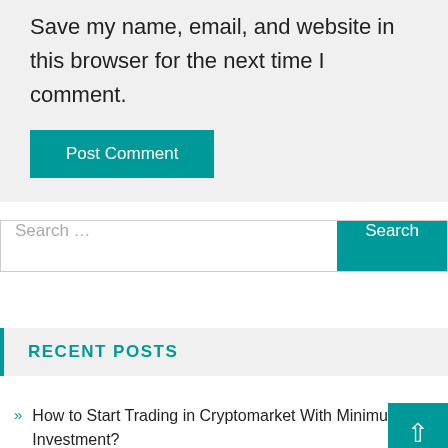Save my name, email, and website in this browser for the next time I comment.
Post Comment
Search ...
RECENT POSTS
How to Start Trading in Cryptomarket With Minimum Investment?